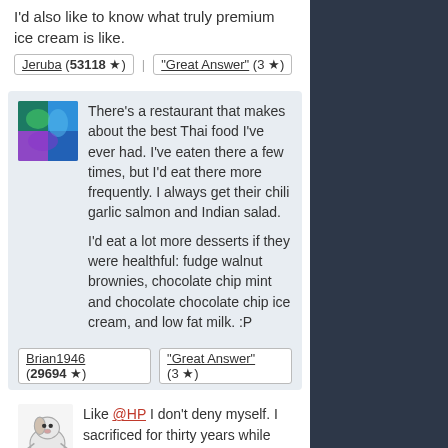I'd also like to know what truly premium ice cream is like.
Jeruba (53118★) | "Great Answer" (3★)
There's a restaurant that makes about the best Thai food I've ever had. I've eaten there a few times, but I'd eat there more frequently. I always get their chili garlic salmon and Indian salad.

I'd eat a lot more desserts if they were healthful: fudge walnut brownies, chocolate chip mint and chocolate chocolate chip ice cream, and low fat milk. :P
Brian1946 (29694★) | "Great Answer" (3★)
Like @HP I don't deny myself. I sacrificed for thirty years while raising my children. I'll happily pay good money for aged cheese.
Jonsblond (6964★) | "Great Answer" (4★)